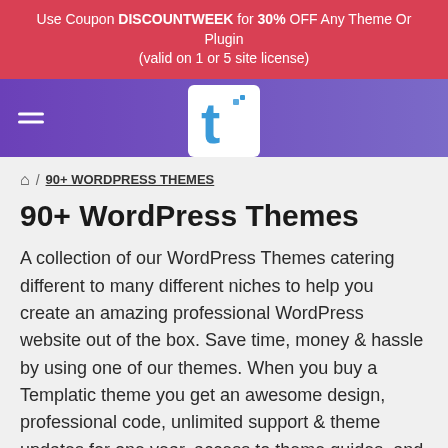Use Coupon DISCOUNTWEEK for 30% OFF Any Theme Or Plugin (valid on 1 or 5 site license)
[Figure (logo): Templatic logo with stylized blue 't' on white background, set in purple navigation bar with hamburger menu icon]
🏠 / 90+ WORDPRESS THEMES
90+ WordPress Themes
A collection of our WordPress Themes catering different to many different niches to help you create an amazing professional WordPress website out of the box. Save time, money & hassle by using one of our themes. When you buy a Templatic theme you get an awesome design, professional code, unlimited support & theme updates for one year, access to theme guides, and access to our great user community.